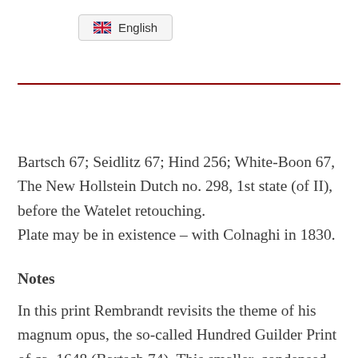English
Bartsch 67; Seidlitz 67; Hind 256; White-Boon 67,
The New Hollstein Dutch no. 298, 1st state (of II), before the Watelet retouching.
Plate may be in existence – with Colnaghi in 1830.
Notes
In this print Rembrandt revisits the theme of his magnum opus, the so-called Hundred Guilder Print of ca. 1648 (Bartsch 74). This smaller, condensed version is one of the artist's most elaborately composed compositions. It has a classical landscape